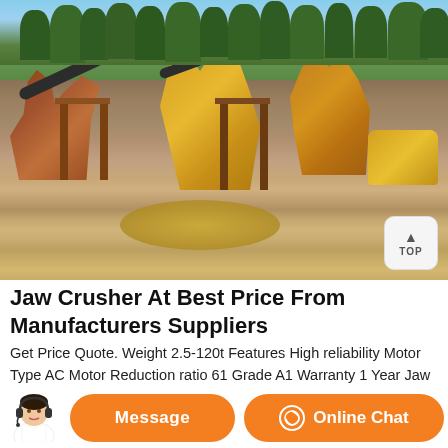[Figure (photo): Outdoor jaw crusher plant/quarry site with conveyor belts, crushing machinery on a hillside with trees in background, dirt ground, muddy puddle in foreground, and a bulldozer on the right side]
Jaw Crusher At Best Price From Manufacturers Suppliers
Get Price Quote. Weight 2.5-120t Features High reliability Motor Type AC Motor Reduction ratio 61 Grade A1 Warranty 1 Year Jaw crushers are typically used as primary crushers, or the first step in the process of reducing the material (produd). The material is dropped between two rigid pieces of metal, one of which then moves inwards towards the material,...